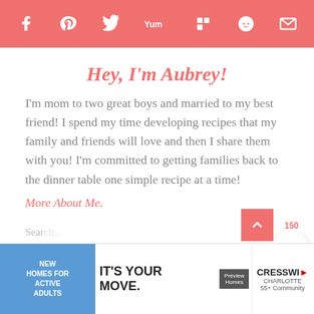Social share bar with icons: Facebook, Pinterest, Twitter, Yummly, Flipboard, Reddit, Email
Hey, I'm Aubrey!
I'm mom to two great boys and married to my best friend! I spend my time developing recipes that my family and friends will love and then I share them with you! I'm committed to getting families back to the dinner table one simple recipe at a time!
More About Me.
[Figure (screenshot): Advertisement banner: New Homes for Active Adults - IT'S YOUR MOVE - Preview Homes - CresswildCharlotte 55+ Community]